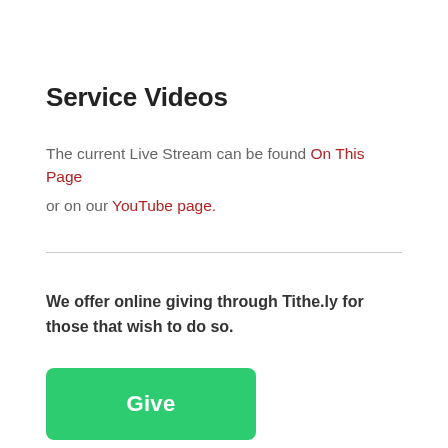Service Videos
The current Live Stream can be found On This Page
or on our YouTube page.
We offer online giving through Tithe.ly for those that wish to do so.
[Figure (other): Green button labeled Give]